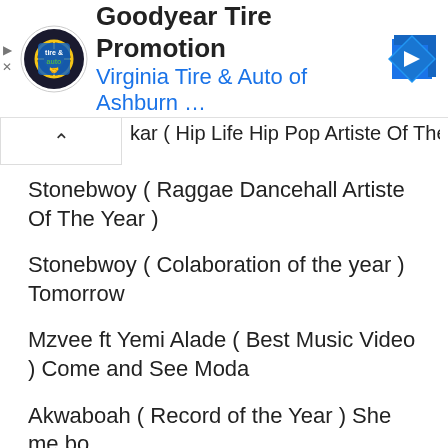[Figure (infographic): Goodyear Tire Promotion advertisement banner with tire and auto logo, Virginia Tire & Auto of Ashburn text in blue, and a blue navigation arrow icon]
...kar ( Hip Life Hip Pop Artiste Of The Year )
Stonebwoy ( Raggae Dancehall Artiste Of The Year )
Stonebwoy ( Colaboration of the year ) Tomorrow
Mzvee ft Yemi Alade ( Best Music Video ) Come and See Moda
Akwaboah ( Record of the Year ) She me bo
King Promise (Song Writer of the Year ) CCTV
Kuami Eugene ( Music Producer of the Year )
Francis Osei ( Sound Engineer of the Year ) She me bo